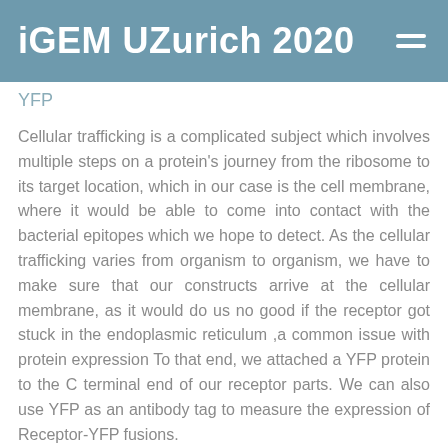iGEM UZurich 2020
YFP
Cellular trafficking is a complicated subject which involves multiple steps on a protein's journey from the ribosome to its target location, which in our case is the cell membrane, where it would be able to come into contact with the bacterial epitopes which we hope to detect. As the cellular trafficking varies from organism to organism, we have to make sure that our constructs arrive at the cellular membrane, as it would do us no good if the receptor got stuck in the endoplasmic reticulum ,a common issue with protein expression To that end, we attached a YFP protein to the C terminal end of our receptor parts. We can also use YFP as an antibody tag to measure the expression of Receptor-YFP fusions.